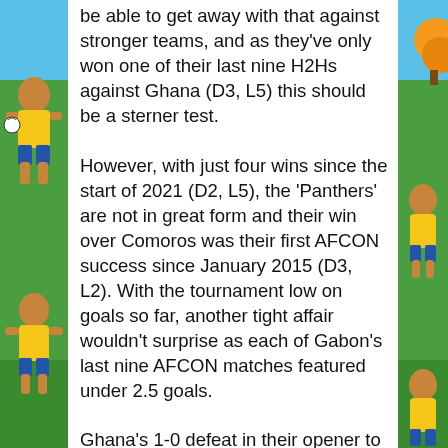be able to get away with that against stronger teams, and as they've only won one of their last nine H2Hs against Ghana (D3, L5) this should be a sterner test.
However, with just four wins since the start of 2021 (D2, L5), the 'Panthers' are not in great form and their win over Comoros was their first AFCON success since January 2015 (D3, L2). With the tournament low on goals so far, another tight affair wouldn't surprise as each of Gabon's last nine AFCON matches featured under 2.5 goals.
Ghana's 1-0 defeat in their opener to Morocco saw them lose consecutive internationals (90-minute outcomes) for the first time since 2017, and they must bounce back here to put themselves in knockout qualification contention. To achieve that, they'll need to stop a worrying trend of being stung by late goals – in three of their last four internationals they conceded after the 70th minute